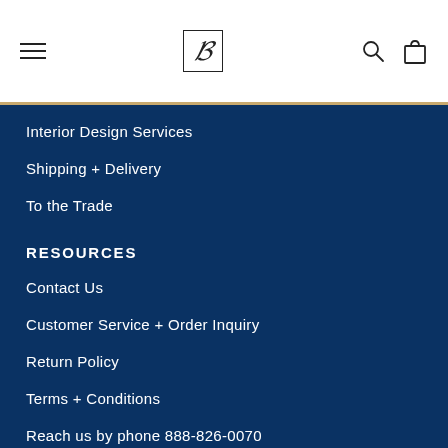B (logo)
Interior Design Services
Shipping + Delivery
To the Trade
Resources
Contact Us
Customer Service + Order Inquiry
Return Policy
Terms + Conditions
Reach us by phone 888-826-0070